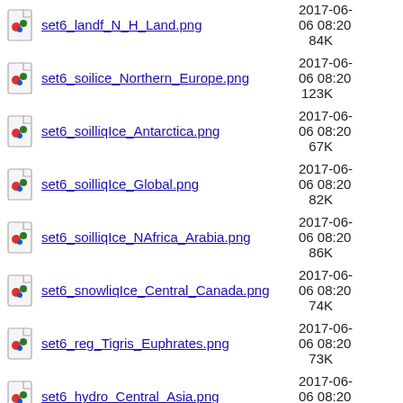set6_landf_N_H_Land.png  2017-06-06 08:20  84K
set6_soilice_Northern_Europe.png  2017-06-06 08:20  123K
set6_soilliqIce_Antarctica.png  2017-06-06 08:20  67K
set6_soilliqIce_Global.png  2017-06-06 08:20  82K
set6_soilliqIce_NAfrica_Arabia.png  2017-06-06 08:20  86K
set6_snowliqIce_Central_Canada.png  2017-06-06 08:20  74K
set6_reg_Tigris_Euphrates.png  2017-06-06 08:20  73K
set6_hydro_Central_Asia.png  2017-06-06 08:20  113K
set6_soilliq_NAfrica_Arabia.png  2017-06-06 08:20  126K
set6_cnFlx_Lost_BorealForest.png  2017-06-06 08:20  143K
set6_tsoi_Indochina.png  2017-06-06 08:20  123K
set6_landf_Central_America.png  2017-06-  74K